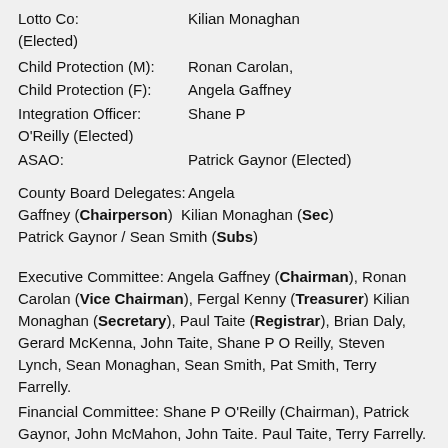Lotto Co: Kilian Monaghan (Elected)
Child Protection (M): Ronan Carolan,
Child Protection (F): Angela Gaffney
Integration Officer: Shane P O'Reilly (Elected)
ASAO: Patrick Gaynor (Elected)
County Board Delegates: Angela Gaffney (Chairperson) Kilian Monaghan (Sec) Patrick Gaynor / Sean Smith (Subs)
Executive Committee: Angela Gaffney (Chairman), Ronan Carolan (Vice Chairman), Fergal Kenny (Treasurer) Kilian Monaghan (Secretary), Paul Taite (Registrar), Brian Daly, Gerard McKenna, John Taite, Shane P O Reilly, Steven Lynch, Sean Monaghan, Sean Smith, Pat Smith, Terry Farrelly.
Financial Committee: Shane P O'Reilly (Chairman), Patrick Gaynor, John McMahon, John Taite. Paul Taite, Terry Farrelly.
Cross Pitch Development: Sean Smith, Fergal